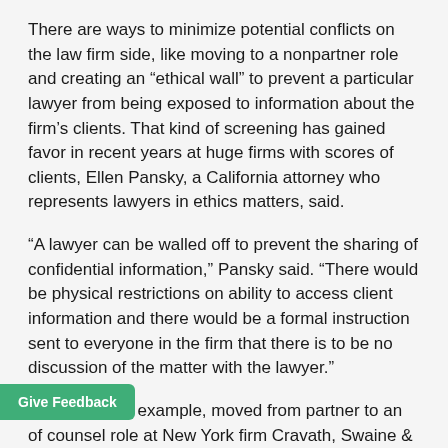There are ways to minimize potential conflicts on the law firm side, like moving to a nonpartner role and creating an “ethical wall” to prevent a particular lawyer from being exposed to information about the firm’s clients. That kind of screening has gained favor in recent years at huge firms with scores of clients, Ellen Pansky, a California attorney who represents lawyers in ethics matters, said.
“A lawyer can be walled off to prevent the sharing of confidential information,” Pansky said. “There would be physical restrictions on ability to access client information and there would be a formal instruction sent to everyone in the firm that there is to be no discussion of the matter with the lawyer.”
Jon White, for example, moved from partner to an of counsel role at New York firm Cravath, Swaine & Moore …lary Jo became head of the Securities and …mmission during the Obama…